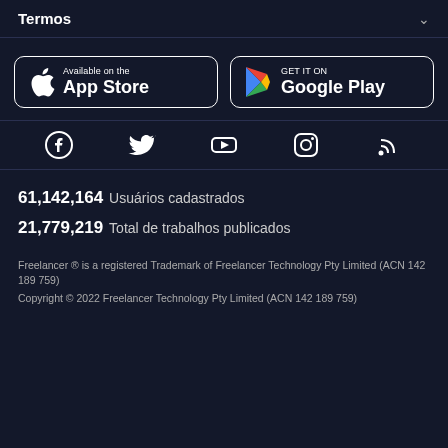Termos
[Figure (logo): App Store and Google Play download badges]
[Figure (other): Social media icons row: Facebook, Twitter, YouTube, Instagram, RSS]
61,142,164  Usuários cadastrados
21,779,219  Total de trabalhos publicados
Freelancer ® is a registered Trademark of Freelancer Technology Pty Limited (ACN 142 189 759)
Copyright © 2022 Freelancer Technology Pty Limited (ACN 142 189 759)